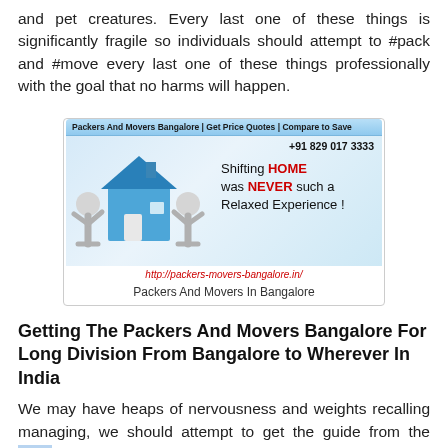and pet creatures. Every last one of these things is significantly fragile so individuals should attempt to #pack and #move every last one of these things professionally with the goal that no harms will happen.
[Figure (illustration): Advertisement banner for Packers And Movers Bangalore showing two cartoon figures carrying a house, with text 'Shifting HOME was NEVER such a Relaxed Experience!' and phone number +91 829 017 3333 and URL http://packers-movers-bangalore.in/]
Packers And Movers In Bangalore
Getting The Packers And Movers Bangalore For Long Division From Bangalore to Wherever In India
We may have heaps of nervousness and weights recalling managing, we should attempt to get the guide from the Best